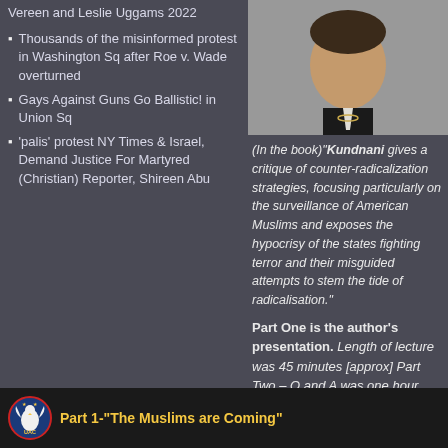Vereen and Leslie Uggams 2022
Thousands of the misinformed protest in Washington Sq after Roe v. Wade overturned
Gays Against Guns Go Ballistic! in Union Sq
'palis' protest NY Times & Israel, Demand Justice For Martyred (Christian) Reporter, Shireen Abu
[Figure (photo): A man in a dark suit with an open white shirt, portrait style photo]
(In the book)"Kundnani gives a critique of counter-radicalization strategies, focusing particularly on the surveillance of American Muslims and exposes the hypocrisy of the states fighting terror and their misguided attempts to stem the tide of radicalisation."
Part One is the author's presentation. Length of lecture was 45 minutes [approx] Part Two – Q and A was one hour [approx.]
[Figure (screenshot): Video thumbnail showing UAC logo (eagle emblem) and text: Part 1-"The Muslims are Coming"]